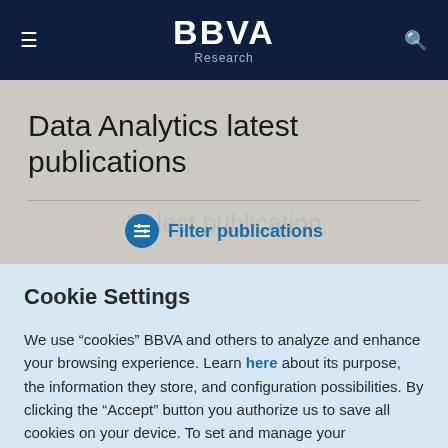BBVA Research
Data Analytics latest publications
Filter publications
Cookie Settings
We use “cookies” BBVA and others to analyze and enhance your browsing experience. Learn here about its purpose, the information they store, and configuration possibilities. By clicking the “Accept” button you authorize us to save all cookies on your device. To set and manage your preferences click on “Cookie Settings”.